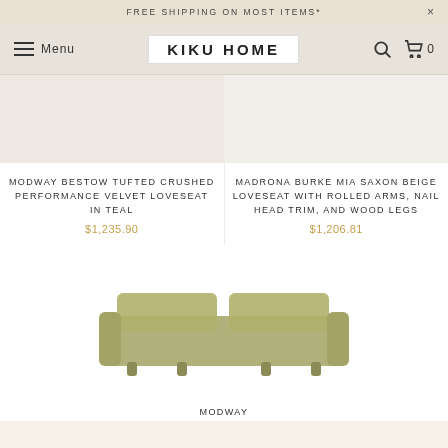FREE SHIPPING ON MOST ITEMS*
KIKU HOME
MODWAY BESTOW TUFTED CRUSHED PERFORMANCE VELVET LOVESEAT IN TEAL
$1,235.90
MADRONA BURKE MIA SAXON BEIGE LOVESEAT WITH ROLLED ARMS, NAIL HEAD TRIM, AND WOOD LEGS
$1,206.81
[Figure (photo): Olive/green tufted loveseat sofa, partially visible at bottom of page]
MODWAY